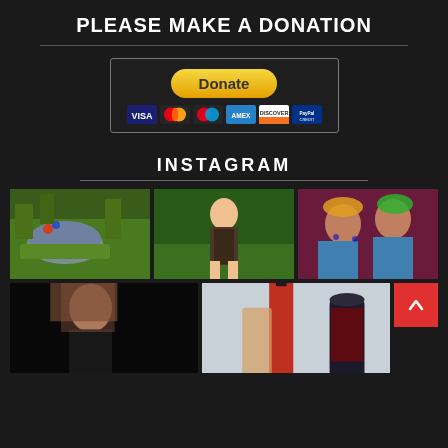PLEASE MAKE A DONATION
[Figure (infographic): PayPal Donate button with credit card icons (Visa, Mastercard, Maestro, American Express, Discover, PayPal Credit)]
INSTAGRAM
[Figure (photo): Close-up photo of a lizard/gecko on green leaves]
[Figure (photo): Young woman in patterned dress standing outdoors on grass]
[Figure (photo): Two women with colorful face paint and headdresses on purple background]
[Figure (photo): Woman with long hair in dark setting, partial view]
[Figure (photo): Person holding wine bottle and glass]